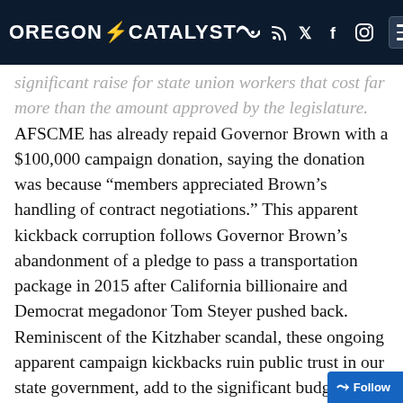OREGON CATALYST
significant raise for state union workers that cost far more than the amount approved by the legislature. AFSCME has already repaid Governor Brown with a $100,000 campaign donation, saying the donation was because “members appreciated Brown’s handling of contract negotiations.” This apparent kickback corruption follows Governor Brown’s abandonment of a pledge to pass a transportation package in 2015 after California billionaire and Democrat megadonor Tom Steyer pushed back. Reminiscent of the Kitzhaber scandal, these ongoing apparent campaign kickbacks ruin public trust in our state government, add to the significant budget shortfall in the next biennium, and potentially allow state officials to pressure those they negotiate with to donate to their campaigns.